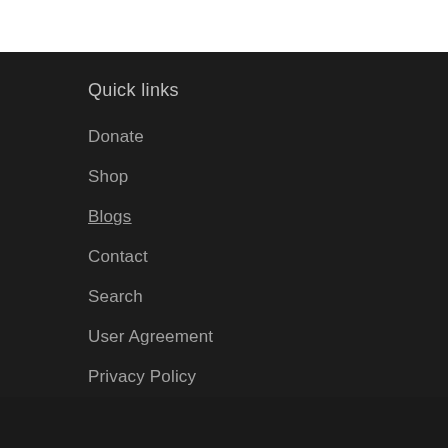Quick links
Donate
Shop
Blogs
Contact
Search
User Agreement
Privacy Policy